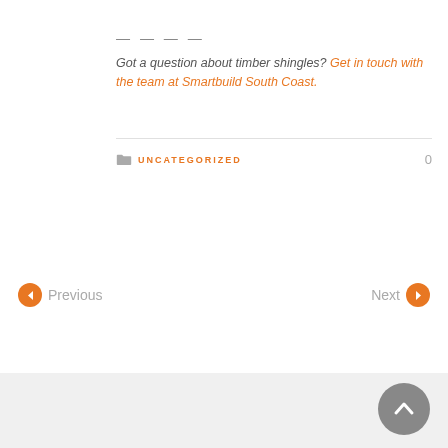— — — —
Got a question about timber shingles? Get in touch with the team at Smartbuild South Coast.
UNCATEGORIZED   0
Previous   Next